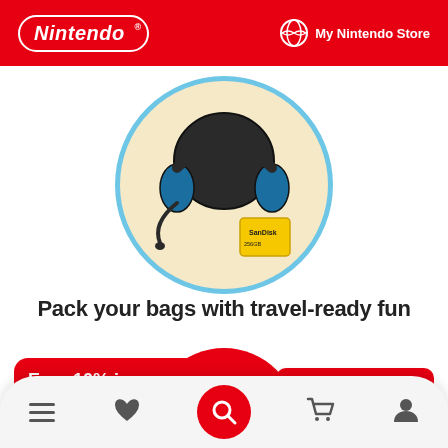Nintendo | My Nintendo Store
[Figure (photo): Blue gaming headset with microphone and a SanDisk microSD card on a beige/cream circular background with light blue border]
Pack your bags with travel-ready fun
[Figure (infographic): Red promotional card: Earn 10% in Gold Points with My Nintendo logo]
[Figure (infographic): Red promotional card: on the digital version of Splatoon 3]
[Figure (logo): Splatoon 3 logo on red circular background]
[Figure (infographic): Bottom navigation bar with menu, heart/wishlist, search (red circle), cart, and account icons]